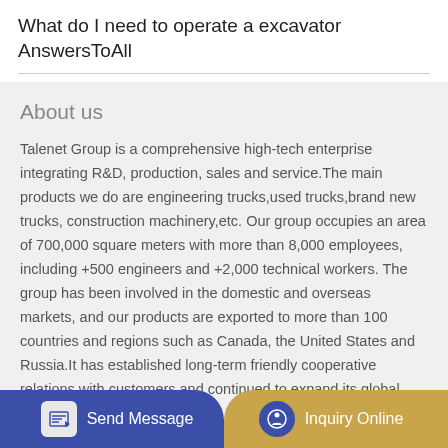What do I need to operate a excavator AnswersToAll
About us
Talenet Group is a comprehensive high-tech enterprise integrating R&D, production, sales and service.The main products we do are engineering trucks,used trucks,brand new trucks, construction machinery,etc. Our group occupies an area of 700,000 square meters with more than 8,000 employees, including +500 engineers and +2,000 technical workers. The group has been involved in the domestic and overseas markets, and our products are exported to more than 100 countries and regions such as Canada, the United States and Russia.It has established long-term friendly cooperative relations with customers and continued to expand its global